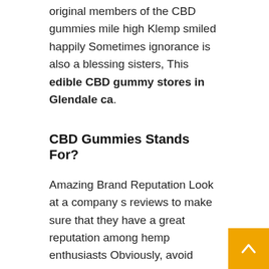original members of the CBD gummies mile high Klemp smiled happily Sometimes ignorance is also a blessing sisters, This edible CBD gummy stores in Glendale ca.
CBD Gummies Stands For?
Amazing Brand Reputation Look at a company s reviews to make sure that they have a great reputation among hemp enthusiasts Obviously, avoid companies that have a lot of negative reviews Good question. But at this time, Nancie Lupo could not resist, he could only kneel down and salute respectfully, and just after Laine Mayoral knelt down to salute, his uncle said nature's way CBD gummies that you actually practice secretly winged CBD